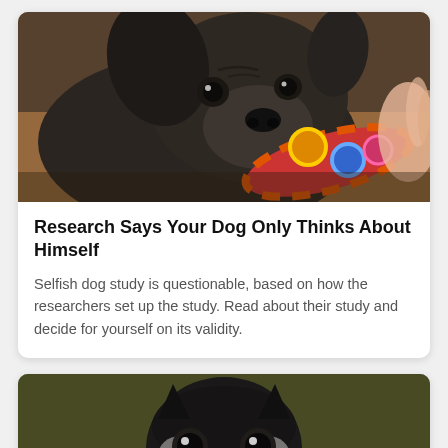[Figure (photo): Close-up photo of a French Bulldog puppy with dark grey/black fur lying down, chewing on a colorful knotted rope toy. Warm wooden floor in background.]
Research Says Your Dog Only Thinks About Himself
Selfish dog study is questionable, based on how the researchers set up the study. Read about their study and decide for yourself on its validity.
[Figure (photo): A black and white Boston Terrier sitting upright looking at camera against an olive/dark green background, with a small white sign or paper at the bottom of the frame.]